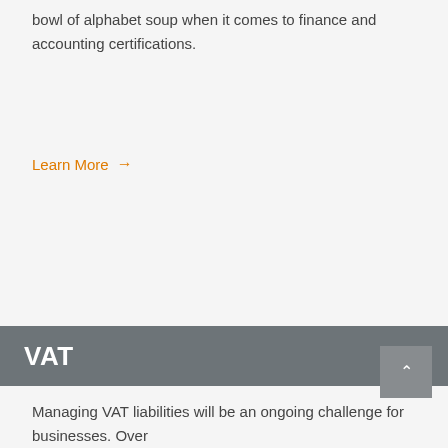bowl of alphabet soup when it comes to finance and accounting certifications.
Learn More →
VAT
Managing VAT liabilities will be an ongoing challenge for businesses. Over